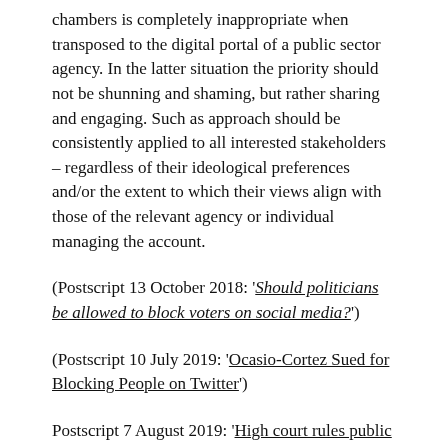chambers is completely inappropriate when transposed to the digital portal of a public sector agency. In the latter situation the priority should not be shunning and shaming, but rather sharing and engaging. Such as approach should be consistently applied to all interested stakeholders – regardless of their ideological preferences and/or the extent to which their views align with those of the relevant agency or individual managing the account.
(Postscript 13 October 2018: 'Should politicians be allowed to block voters on social media?')
(Postscript 10 July 2019: 'Ocasio-Cortez Sued for Blocking People on Twitter')
Postscript 7 August 2019: 'High court rules public servants can be sacked for political social media posts'. Interesting